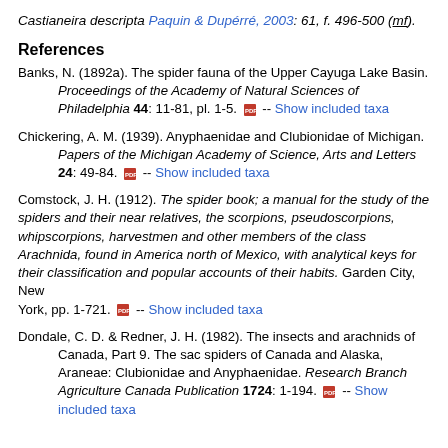Castianeira descripta Paquin & Dupérré, 2003: 61, f. 496-500 (mf).
References
Banks, N. (1892a). The spider fauna of the Upper Cayuga Lake Basin. Proceedings of the Academy of Natural Sciences of Philadelphia 44: 11-81, pl. 1-5. [pdf icon] -- Show included taxa
Chickering, A. M. (1939). Anyphaenidae and Clubionidae of Michigan. Papers of the Michigan Academy of Science, Arts and Letters 24: 49-84. [pdf icon] -- Show included taxa
Comstock, J. H. (1912). The spider book; a manual for the study of the spiders and their near relatives, the scorpions, pseudoscorpions, whipscorpions, harvestmen and other members of the class Arachnida, found in America north of Mexico, with analytical keys for their classification and popular accounts of their habits. Garden City, New York, pp. 1-721. [pdf icon] -- Show included taxa
Dondale, C. D. & Redner, J. H. (1982). The insects and arachnids of Canada, Part 9. The sac spiders of Canada and Alaska, Araneae: Clubionidae and Anyphaenidae. Research Branch Agriculture Canada Publication 1724: 1-194. [pdf icon] -- Show included taxa